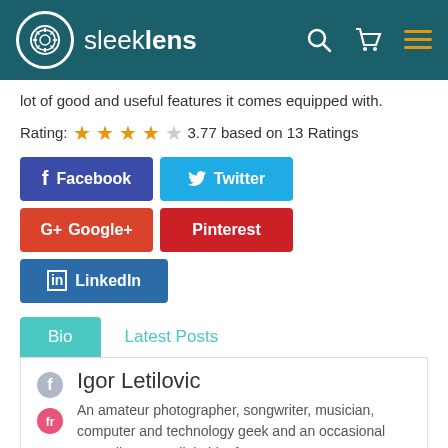sleeklens
lot of good and useful features it comes equipped with.
Rating: 3.77 based on 13 Ratings
[Figure (infographic): Social sharing buttons: Facebook, Twitter, Google+, Pinterest, LinkedIn]
Bio | Latest Posts
Igor Letilovic
An amateur photographer, songwriter, musician, computer and technology geek and an occasional comedian, I'm a little bit of